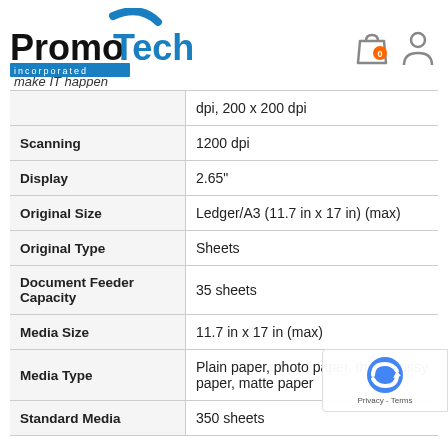[Figure (logo): PromoTech Incorporated logo with blue arc and 'make IT happen' tagline]
| Property | Value |
| --- | --- |
|  | dpi, 200 x 200 dpi |
| Scanning | 1200 dpi |
| Display | 2.65" |
| Original Size | Ledger/A3 (11.7 in x 17 in) (max) |
| Original Type | Sheets |
| Document Feeder Capacity | 35 sheets |
| Media Size | 11.7 in x 17 in (max) |
| Media Type | Plain paper, photo paper, thick glossy paper, matte paper |
| Standard Media | 350 sheets |